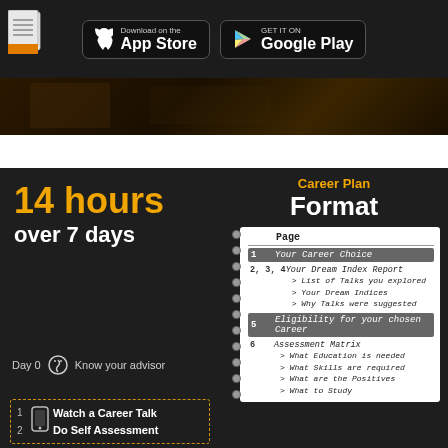Download on the App Store  GET IT ON Google Play
[Figure (photo): Dark background photo strip]
14 hours
over 7 days
Day 0   Know your advisor
1
2
Watch a Career Talk
Do Self Assessment
Career Plan
Format
| Page |  |
| --- | --- |
| 1 | Your Career Choice |
| 2, 3, 4 | Your Dream Index Report
> List of Talks you explored
> Your Dream Indices
> Why Talks were suggested |
| 5 | Eligibility for your chosen Career |
| 6 | Assessment Matrix
> What Education is needed
> What Skills are required
> What are the Positives
> What to Study |